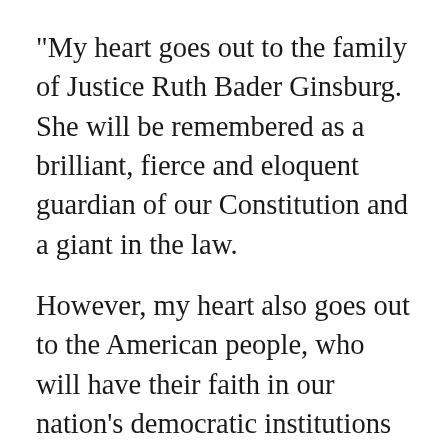"My heart goes out to the family of Justice Ruth Bader Ginsburg. She will be remembered as a brilliant, fierce and eloquent guardian of our Constitution and a giant in the law.
However, my heart also goes out to the American people, who will have their faith in our nation's democratic institutions tested as perhaps never before. The same Republican-controlled Senate that cited the then upcoming 2016 presidential election as a pretext to refuse to hold hearings